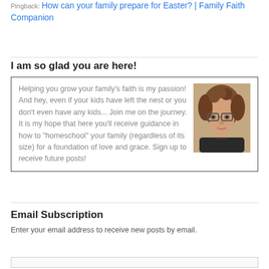Pingback: How can your family prepare for Easter? | Family Faith Companion
I am so glad you are here!
Helping you grow your family's faith is my passion! And hey, even if your kids have left the nest or you don't even have any kids... Join me on the journey. It is my hope that here you'll receive guidance in how to "homeschool" your family (regardless of its size) for a foundation of love and grace. Sign up to receive future posts!
[Figure (photo): Portrait photo of a middle-aged woman with curly hair and glasses]
Email Subscription
Enter your email address to receive new posts by email.